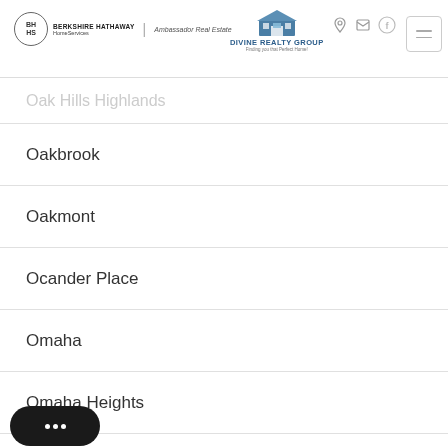Berkshire Hathaway HomeServices | Ambassador Real Estate — Divine Realty Group
Oak Hills Highlands
Oakbrook
Oakmont
Ocander Place
Omaha
Omaha Heights
Omaha View